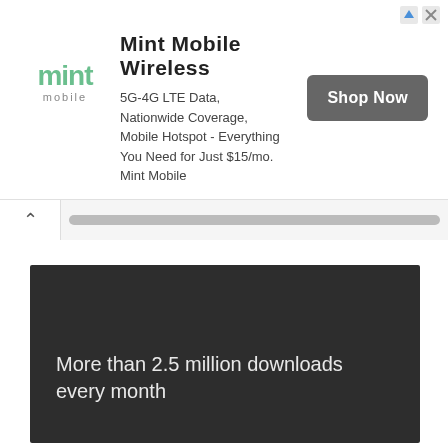[Figure (screenshot): Mint Mobile advertisement banner with logo, title, body text, and Shop Now button]
More than 2.5 million downloads every month